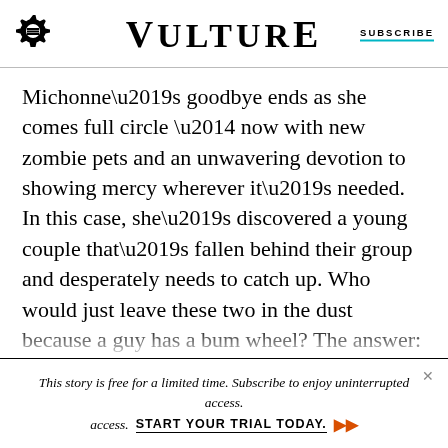VULTURE | SUBSCRIBE
Michonne’s goodbye ends as she comes full circle — now with new zombie pets and an unwavering devotion to showing mercy wherever it’s needed. In this case, she’s discovered a young couple that’s fallen behind their group and desperately needs to catch up. Who would just leave these two in the dust because a guy has a bum wheel? The answer: a massive caravan of six huge formations of people, rolling off toward the horizon. In a meta way, this makes sense — the TWD universe is about to
This story is free for a limited time. Subscribe to enjoy uninterrupted access. START YOUR TRIAL TODAY.